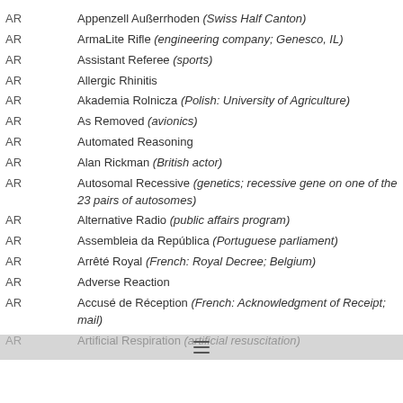AR — Appenzell Außerrhoden (Swiss Half Canton)
AR — ArmaLite Rifle (engineering company; Genesco, IL)
AR — Assistant Referee (sports)
AR — Allergic Rhinitis
AR — Akademia Rolnicza (Polish: University of Agriculture)
AR — As Removed (avionics)
AR — Automated Reasoning
AR — Alan Rickman (British actor)
AR — Autosomal Recessive (genetics; recessive gene on one of the 23 pairs of autosomes)
AR — Alternative Radio (public affairs program)
AR — Assembleia da República (Portuguese parliament)
AR — Arrêté Royal (French: Royal Decree; Belgium)
AR — Adverse Reaction
AR — Accusé de Réception (French: Acknowledgment of Receipt; mail)
AR — Artificial Respiration (artificial resuscitation)